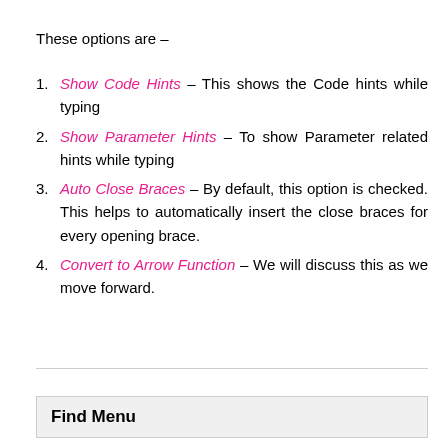These options are –
Show Code Hints – This shows the Code hints while typing
Show Parameter Hints – To show Parameter related hints while typing
Auto Close Braces – By default, this option is checked. This helps to automatically insert the close braces for every opening brace.
Convert to Arrow Function – We will discuss this as we move forward.
Find Menu